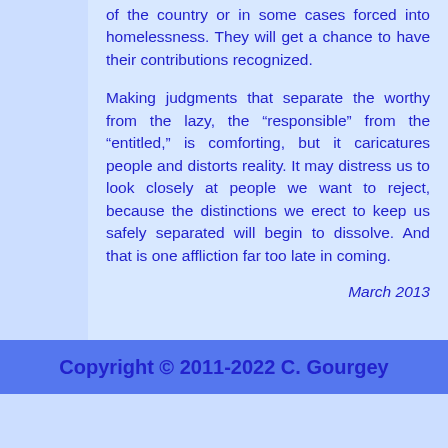of the country or in some cases forced into homelessness. They will get a chance to have their contributions recognized.

Making judgments that separate the worthy from the lazy, the “responsible” from the “entitled,” is comforting, but it caricatures people and distorts reality. It may distress us to look closely at people we want to reject, because the distinctions we erect to keep us safely separated will begin to dissolve. And that is one affliction far too late in coming.
March 2013
Copyright © 2011-2022 C. Gourgey